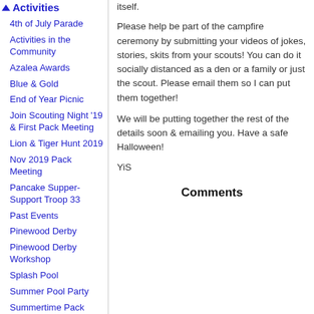Activities
4th of July Parade
Activities in the Community
Azalea Awards
Blue & Gold
End of Year Picnic
Join Scouting Night '19 & First Pack Meeting
Lion & Tiger Hunt 2019
Nov 2019 Pack Meeting
Pancake Supper-Support Troop 33
Past Events
Pinewood Derby
Pinewood Derby Workshop
Splash Pool
Summer Pool Party
Summertime Pack Award
itself.
Please help be part of the campfire ceremony by submitting your videos of jokes, stories, skits from your scouts! You can do it socially distanced as a den or a family or just the scout. Please email them so I can put them together!
We will be putting together the rest of the details soon & emailing you. Have a safe Halloween!
YiS
Comments